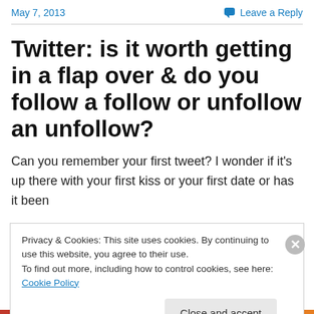May 7, 2013   Leave a Reply
Twitter: is it worth getting in a flap over & do you follow a follow or unfollow an unfollow?
Can you remember your first tweet? I wonder if it's up there with your first kiss or your first date or has it been
Privacy & Cookies: This site uses cookies. By continuing to use this website, you agree to their use. To find out more, including how to control cookies, see here: Cookie Policy